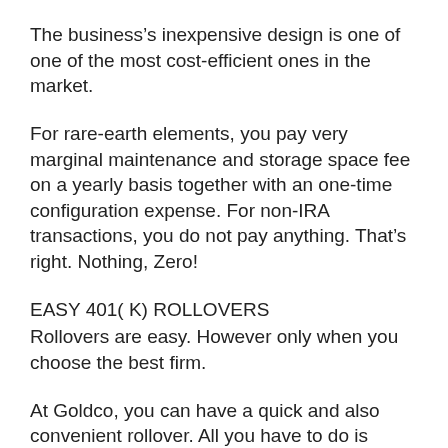The business’s inexpensive design is one of one of the most cost-efficient ones in the market.
For rare-earth elements, you pay very marginal maintenance and storage space fee on a yearly basis together with an one-time configuration expense. For non-IRA transactions, you do not pay anything. That’s right. Nothing, Zero!
EASY 401( K) ROLLOVERS
Rollovers are easy. However only when you choose the best firm.
At Goldco, you can have a quick and also convenient rollover. All you have to do is